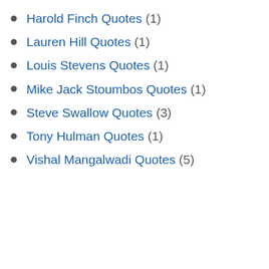Harold Finch Quotes (1)
Lauren Hill Quotes (1)
Louis Stevens Quotes (1)
Mike Jack Stoumbos Quotes (1)
Steve Swallow Quotes (3)
Tony Hulman Quotes (1)
Vishal Mangalwadi Quotes (5)